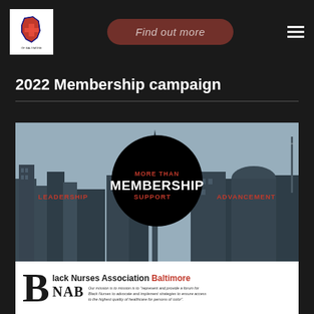[Figure (logo): Black Nurses Association of Baltimore logo in white box]
Find out more
2022 Membership campaign
[Figure (infographic): Black Nurses Association Baltimore membership campaign image with city skyline background, large black circle with 'MORE THAN MEMBERSHIP' text, and three red labels: LEADERSHIP, SUPPORT, ADVANCEMENT. Bottom banner shows BNAB logo with 'Black Nurses Association Baltimore' and mission statement.]